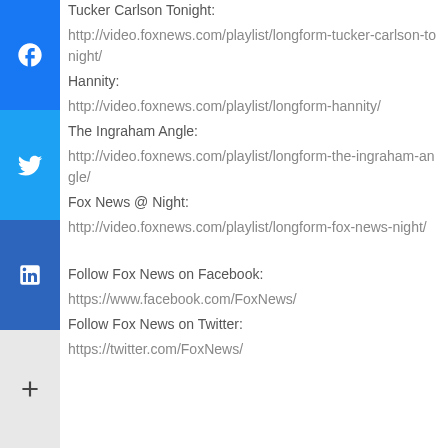[Figure (other): Social media share buttons sidebar: Facebook (blue), Twitter (blue), LinkedIn (dark blue), and More (+) button]
Tucker Carlson Tonight: http://video.foxnews.com/playlist/longform-tucker-carlson-tonight/
Hannity: http://video.foxnews.com/playlist/longform-hannity/
The Ingraham Angle: http://video.foxnews.com/playlist/longform-the-ingraham-angle/
Fox News @ Night: http://video.foxnews.com/playlist/longform-fox-news-night/
Follow Fox News on Facebook: https://www.facebook.com/FoxNews/
Follow Fox News on Twitter: https://twitter.com/FoxNews/